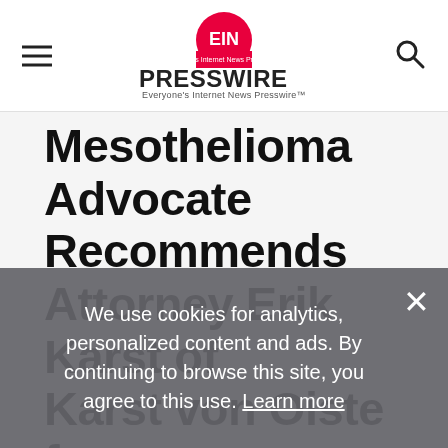EIN Presswire — Everyone's Internet News Presswire
Mesothelioma Advocate Recommends Attorney Erik Karst of Karst von Oiste for a Navy Veteran with Mesothelioma in Colorado To Ensure a Top Compensation
We use cookies for analytics, personalized content and ads. By continuing to browse this site, you agree to this use. Learn more